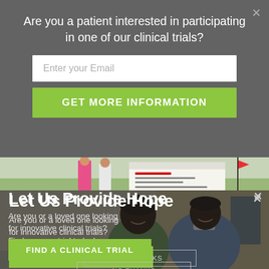Are you a patient interested in participating in one of our clinical trials?
Enter your Email
GET MORE INFORMATION
[Figure (photo): Outdoor photo of people holding a large ceremonial check at what appears to be a charity golf tournament]
Let Us Provide Hope
Are you or a loved one looking for innovative clinical trials? Find an open trial today!
FIND A CLINICAL TRIAL
NO THANKS